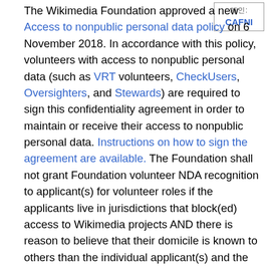[Figure (other): Small box in upper right corner with CJK characters and 'CAFNI' label, bordered]
The Wikimedia Foundation approved a new Access to nonpublic personal data policy on 6 November 2018. In accordance with this policy, volunteers with access to nonpublic personal data (such as VRT volunteers, CheckUsers, Oversighters, and Stewards) are required to sign this confidentiality agreement in order to maintain or receive their access to nonpublic personal data. Instructions on how to sign the agreement are available. The Foundation shall not grant Foundation volunteer NDA recognition to applicant(s) for volunteer roles if the applicants live in jurisdictions that block(ed) access to Wikimedia projects AND there is reason to believe that their domicile is known to others than the individual applicant(s) and the Foundation. Exemptions may be granted in individual cases following a request for review by the Legal department. Granting such NDAs would put the applicant(s) as well as other volunteers